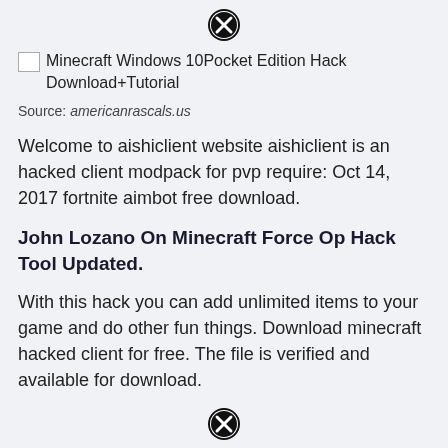[Figure (other): Close/dismiss button icon (circled X) at top center]
[Figure (other): Broken image placeholder with alt text: Minecraft Windows 10Pocket Edition Hack Download+Tutorial]
Source: americanrascals.us
Welcome to aishiclient website aishiclient is an hacked client modpack for pvp require: Oct 14, 2017 fortnite aimbot free download.
John Lozano On Minecraft Force Op Hack Tool Updated.
With this hack you can add unlimited items to your game and do other fun things. Download minecraft hacked client for free. The file is verified and available for download.
[Figure (other): Close/dismiss button icon (circled X) at bottom center]
Partial text at bottom (cut off)